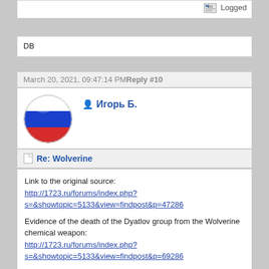Logged
DB
March 20, 2021, 09:47:14 PM Reply #10
Игорь Б.
Re: Wolverine
Link to the original source:
http://1723.ru/forums/index.php?s=&showtopic=5133&view=findpost&p=47286
Evidence of the death of the Dyatlov group from the Wolverine chemical weapon:
http://1723.ru/forums/index.php?s=&showtopic=5133&view=findpost&p=69286
Common misconceptions about wolverine and its chemical weapon:
http://1723.ru/forums/index.php?